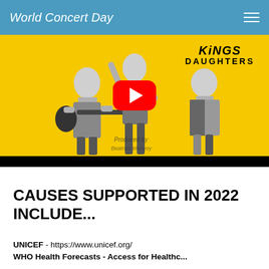World Concert Day
[Figure (screenshot): YouTube video thumbnail showing Kings Daughters group with three female performers on a yellow background, with a red YouTube play button overlay]
CAUSES SUPPORTED IN 2022 INCLUDE...
UNICEF  - https://www.unicef.org/
WHO Health Forecasts - Access for Healthc...